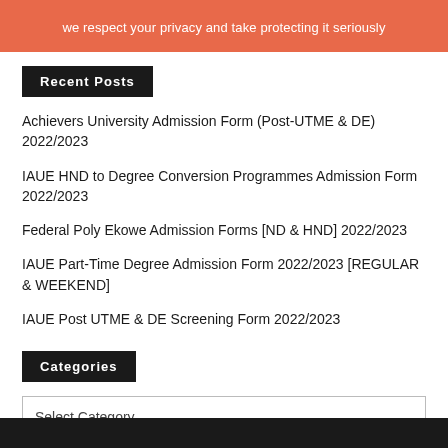we respect your privacy and take protecting it seriously
Recent Posts
Achievers University Admission Form (Post-UTME & DE) 2022/2023
IAUE HND to Degree Conversion Programmes Admission Form 2022/2023
Federal Poly Ekowe Admission Forms [ND & HND] 2022/2023
IAUE Part-Time Degree Admission Form 2022/2023 [REGULAR & WEEKEND]
IAUE Post UTME & DE Screening Form 2022/2023
Categories
Select Category